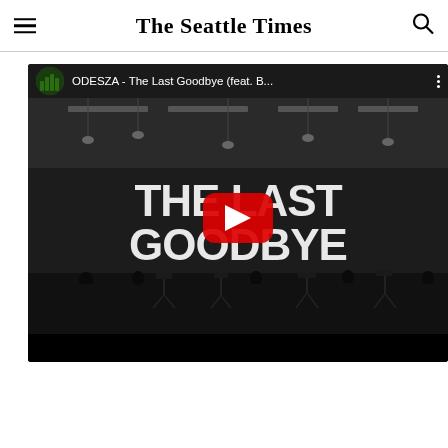The Seattle Times
[Figure (screenshot): YouTube video embed showing ODESZA - The Last Goodbye (feat. B...) with YouTube top bar showing channel avatar and video title, a black and white thumbnail with large text 'THE LAST GOODBYE' and musicians/equipment silhouettes on stage with a red YouTube play button overlay in the center.]